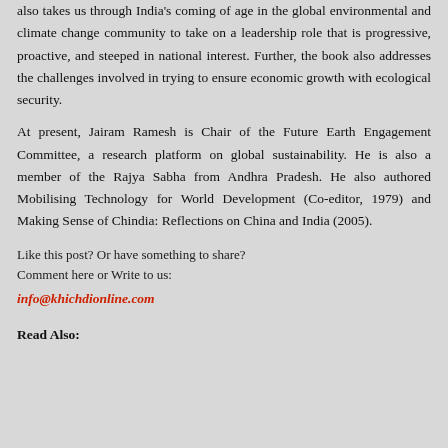also takes us through India's coming of age in the global environmental and climate change community to take on a leadership role that is progressive, proactive, and steeped in national interest. Further, the book also addresses the challenges involved in trying to ensure economic growth with ecological security.
At present, Jairam Ramesh is Chair of the Future Earth Engagement Committee, a research platform on global sustainability. He is also a member of the Rajya Sabha from Andhra Pradesh. He also authored Mobilising Technology for World Development (Co-editor, 1979) and Making Sense of Chindia: Reflections on China and India (2005).
Like this post? Or have something to share? Comment here or Write to us:
info@khichdionline.com
Read Also: